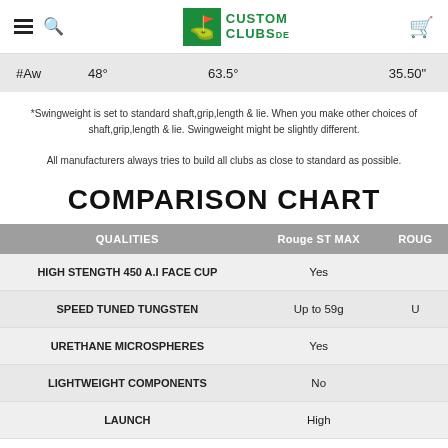Custom Clubs DE — navigation header with logo
| #Aw | 48° | 63.5° |  | 35.50" |
| --- | --- | --- | --- | --- |
| #Aw | 48° | 63.5° |  | 35.50" |
*Swingweight is set to standard shaft,grip,length & lie. When you make other choices of shaft,grip,length & lie. Swingweight might be slightly different.

All manufacturers always tries to build all clubs as close to standard as possible.
COMPARISON CHART
| QUALITIES | Rouge ST MAX | ROUG |
| --- | --- | --- |
| HIGH STENGTH 450 A.I FACE CUP | Yes |  |
| SPEED TUNED TUNGSTEN | Up to 59g | U |
| URETHANE MICROSPHERES | Yes |  |
| LIGHTWEIGHT COMPONENTS | No |  |
| LAUNCH | High |  |